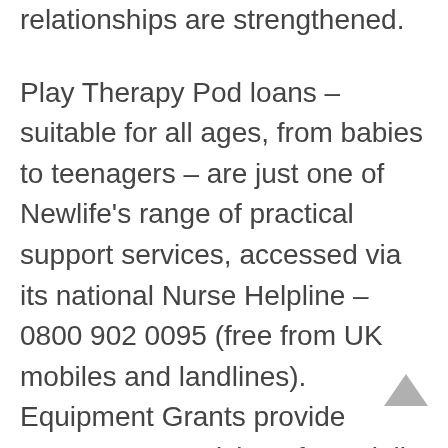relationships are strengthened.
Play Therapy Pod loans – suitable for all ages, from babies to teenagers – are just one of Newlife's range of practical support services, accessed via its national Nurse Helpline – 0800 902 0095 (free from UK mobiles and landlines). Equipment Grants provide permanent provision of specialist aids; Emergency Equipment Loans offer a quick response for terminally ill and life-limited children and those at risk through unsafe sleeping environments; Comfort Capsules enable families of terminally ill children to make memories together.
To find out more about how Newlife supports families across Merseyside, go